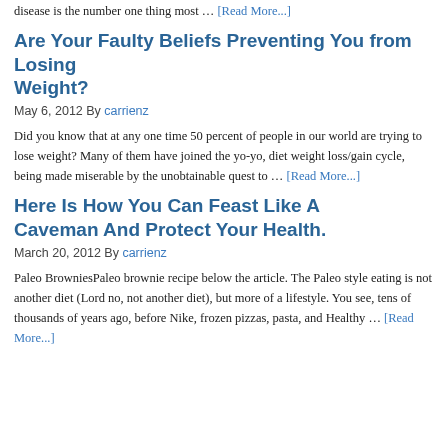disease is the number one thing most … [Read More...]
Are Your Faulty Beliefs Preventing You from Losing Weight?
May 6, 2012 By carrienz
Did you know that at any one time 50 percent of people in our world are trying to lose weight? Many of them have joined the yo-yo, diet weight loss/gain cycle, being made miserable by the unobtainable quest to … [Read More...]
Here Is How You Can Feast Like A Caveman And Protect Your Health.
March 20, 2012 By carrienz
Paleo BrowniesPaleo brownie recipe below the article. The Paleo style eating is not another diet (Lord no, not another diet), but more of a lifestyle. You see, tens of thousands of years ago, before Nike, frozen pizzas, pasta, and Healthy … [Read More...]